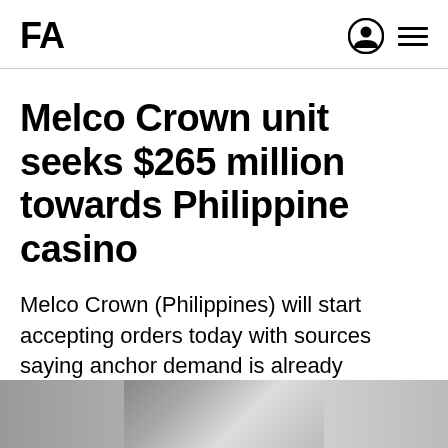FA
Melco Crown unit seeks $265 million towards Philippine casino
Melco Crown (Philippines) will start accepting orders today with sources saying anchor demand is already exceeding the total deal size.
[Figure (photo): Partial view of a building or structure, grayscale/muted tones, cropped at bottom of page]